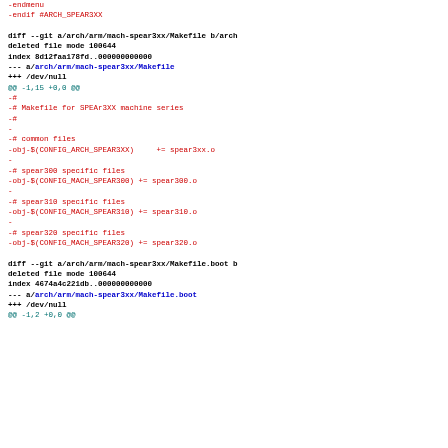git diff output showing deleted files in arch/arm/mach-spear3xx: -endmenu, -endif #ARCH_SPEAR3XX, diff --git a/arch/arm/mach-spear3xx/Makefile b/arch/arm/mach-spear3xx/Makefile, deleted file mode 100644, index 8d12faa178fd..000000000000, --- a/arch/arm/mach-spear3xx/Makefile, +++ /dev/null, @@ -1,15 +0,0 @@, removed lines for Makefile content, diff --git a/arch/arm/mach-spear3xx/Makefile.boot b/..., deleted file mode 100644, index 4674a4c221db..000000000000, --- a/arch/arm/mach-spear3xx/Makefile.boot, +++ /dev/null, @@ -1,2 +0,0 @@